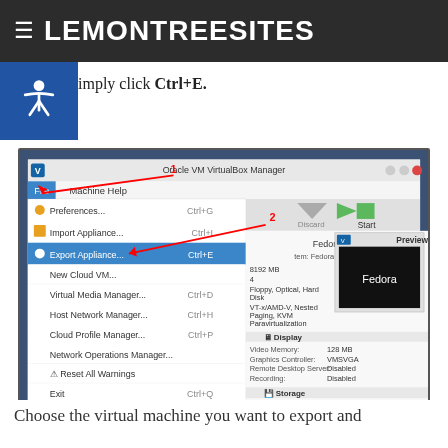LEMONTREESITES
At the VirtualBox Manager, go to the File menu and choose Export Appliance... If you prefer keyboard shortcuts, you can simply click Ctrl+E.
[Figure (screenshot): Oracle VM VirtualBox Manager window showing the File menu open with Export Appliance... highlighted (Ctrl+E). Numbered red arrows point to 1) the File menu and 2) the Export Appliance option. The right panel shows Fedora VM details including Preview, Display settings (Video Memory: 128 MB, Graphics Controller: VMSVGA, Remote Desktop Server: Disabled, Recording: Disabled), and Storage section. A second VM 'POP OS 20.04 LTS - Powered Off' is visible in the left sidebar.]
Choose the virtual machine you want to export and